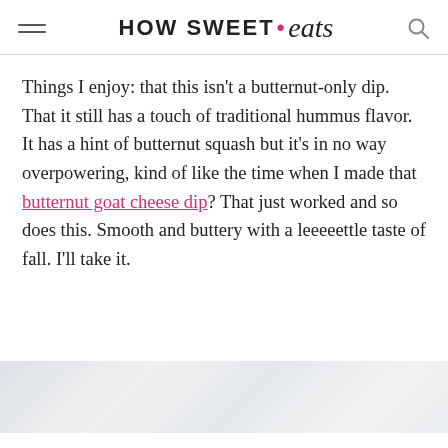HOW SWEET • eats
Things I enjoy: that this isn't a butternut-only dip. That it still has a touch of traditional hummus flavor. It has a hint of butternut squash but it's in no way overpowering, kind of like the time when I made that butternut goat cheese dip? That just worked and so does this. Smooth and buttery with a leeeeettle taste of fall. I'll take it.
[Figure (photo): Partial photo visible at bottom of page, light colored background with food item]